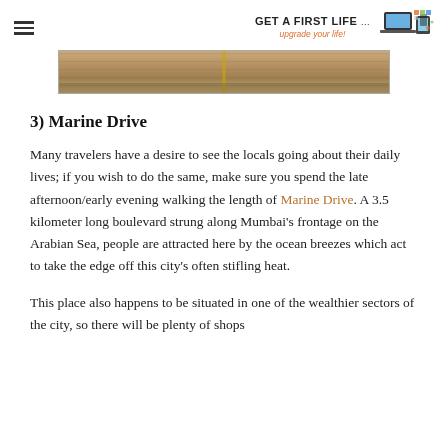Get A First Life — upgrade your life! [logo with laptop/devices icon]
[Figure (photo): Partial view of a sandstone or brick building facade, horizontal bands of stone with a yellow vertical stripe or column visible in the center.]
3) Marine Drive
Many travelers have a desire to see the locals going about their daily lives; if you wish to do the same, make sure you spend the late afternoon/early evening walking the length of Marine Drive. A 3.5 kilometer long boulevard strung along Mumbai's frontage on the Arabian Sea, people are attracted here by the ocean breezes which act to take the edge off this city's often stifling heat.
This place also happens to be situated in one of the wealthier sectors of the city, so there will be plenty of shops